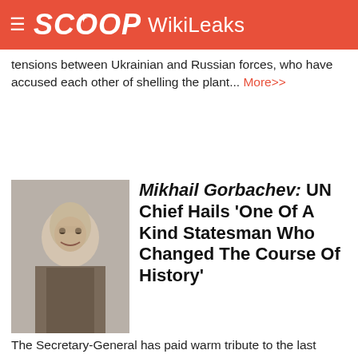SCOOP WikiLeaks
tensions between Ukrainian and Russian forces, who have accused each other of shelling the plant... More>>
Mikhail Gorbachev: UN Chief Hails 'One Of A Kind Statesman Who Changed The Course Of History'
The Secretary-General has paid warm tribute to the last leader of the Soviet Union, Mikhail Gorbachev, whose death aged 91 was announced on Tuesday, describing him as the person who "more than any other" brought about the peaceful end of the Cold War, which had dominated international relations since the 1940s... More>>
Save The Children: More Than